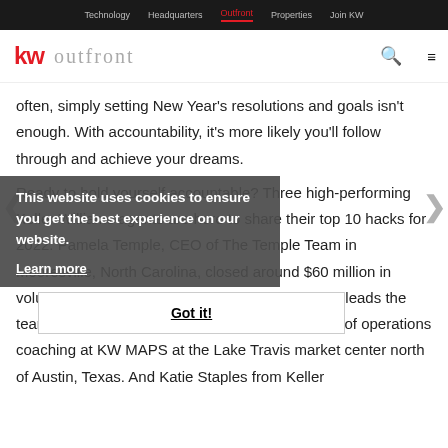Technology | Headquarters | Outfront | Properties | Join KW
[Figure (logo): KW Outfront logo with search and menu icons]
often, simply setting New Year's resolutions and goals isn't enough. With accountability, it's more likely you'll follow through and achieve your dreams.
Ready to hold yourself accountable? Three high-performing Keller Williams agents are here to share their top 10 hacks for 2022. Pamela Temple, CEO of The Temple Team in Mooresville, North Carolina, closed around $60 million in volume last year along with her husband, who co-leads the team. Nicole Zuber is the head coach for director of operations coaching at KW MAPS at the Lake Travis market center north of Austin, Texas. And Katie Staples from Keller
This website uses cookies to ensure you get the best experience on our website.
Learn more
Got it!